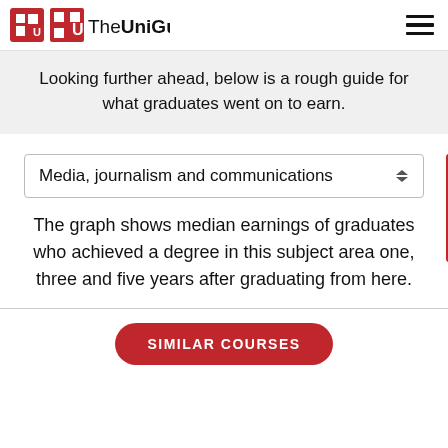The UniGuide
Looking further ahead, below is a rough guide for what graduates went on to earn.
Media, journalism and communications
The graph shows median earnings of graduates who achieved a degree in this subject area one, three and five years after graduating from here.
SIMILAR COURSES